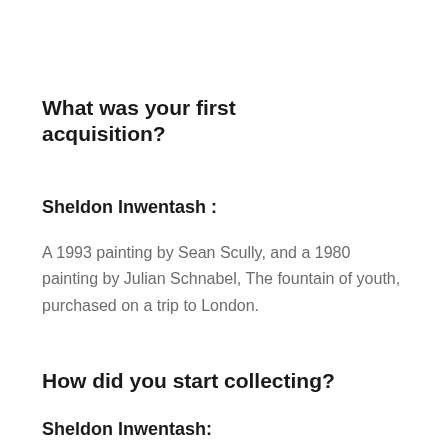What was your first acquisition?
Sheldon Inwentash :
A 1993 painting by Sean Scully, and a 1980 painting by Julian Schnabel, The fountain of youth, purchased on a trip to London.
How did you start collecting?
Sheldon Inwentash: